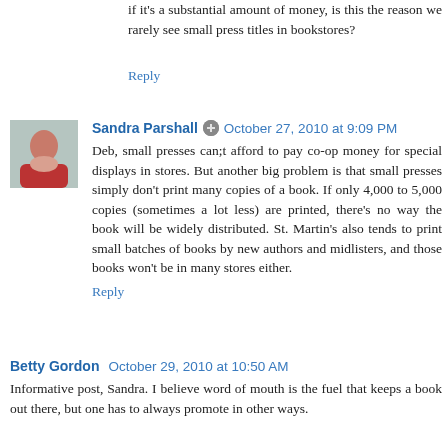if it's a substantial amount of money, is this the reason we rarely see small press titles in bookstores?
Reply
Sandra Parshall  October 27, 2010 at 9:09 PM
Deb, small presses can;t afford to pay co-op money for special displays in stores. But another big problem is that small presses simply don't print many copies of a book. If only 4,000 to 5,000 copies (sometimes a lot less) are printed, there's no way the book will be widely distributed. St. Martin's also tends to print small batches of books by new authors and midlisters, and those books won't be in many stores either.
Reply
Betty Gordon  October 29, 2010 at 10:50 AM
Informative post, Sandra. I believe word of mouth is the fuel that keeps a book out there, but one has to always promote in other ways.